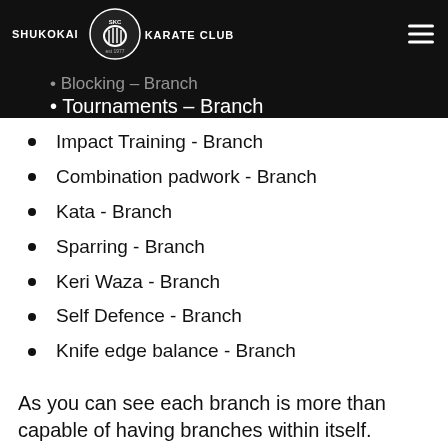SHUKOKAI KARATE CLUB est 1977
Blocking - Branch
Tournaments - Branch
Impact Training - Branch
Combination padwork - Branch
Kata - Branch
Sparring - Branch
Keri Waza  - Branch
Self Defence - Branch
Knife edge balance - Branch
As you can see each branch is more than capable of having branches within itself.
[Figure (logo): Facebook Messenger icon - blue circle with white lightning bolt checkmark]
An Example of this would be